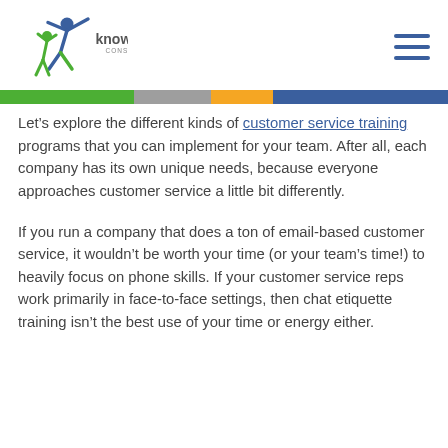knowledge force CONSULTING
Let’s explore the different kinds of customer service training programs that you can implement for your team. After all, each company has its own unique needs, because everyone approaches customer service a little bit differently.
If you run a company that does a ton of email-based customer service, it wouldn’t be worth your time (or your team’s time!) to heavily focus on phone skills. If your customer service reps work primarily in face-to-face settings, then chat etiquette training isn’t the best use of your time or energy either.